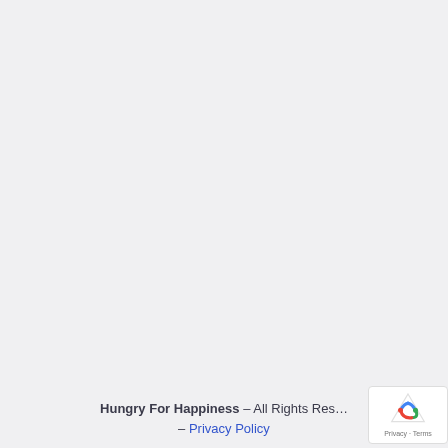Hungry For Happiness – All Rights Reserved – Privacy Policy